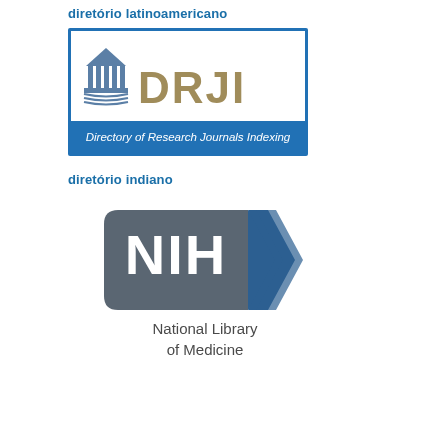diretório latinoamericano
[Figure (logo): DRJI - Directory of Research Journals Indexing logo. Features a Greek temple icon on the left and large tan/gold text 'DRJI' on a white background, with a blue banner at the bottom reading 'Directory of Research Journals Indexing'. Surrounded by a blue border.]
diretório indiano
[Figure (logo): NIH National Library of Medicine logo. A dark grey hexagonal arrow shape containing white bold text 'NIH' with a blue double chevron arrow on the right. Below: 'National Library of Medicine' in dark grey text.]